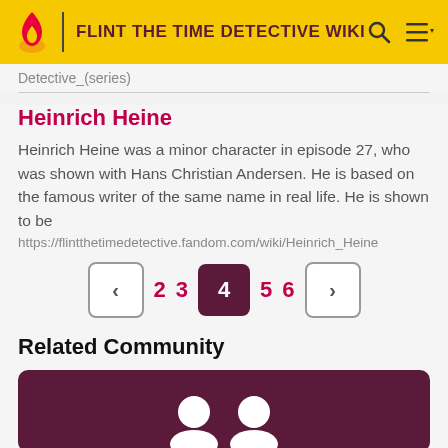FLINT THE TIME DETECTIVE WIKI
Detective_(series)
Heinrich Heine
Heinrich Heine was a minor character in episode 27, who was shown with Hans Christian Andersen. He is based on the famous writer of the same name in real life. He is shown to be
https://flintthetimedetective.fandom.com/wiki/Heinrich_Heine
< 2 3 4 5 6 >
Related Community
[Figure (illustration): Dark magenta/purple community card with two white silhouette icons at the bottom]